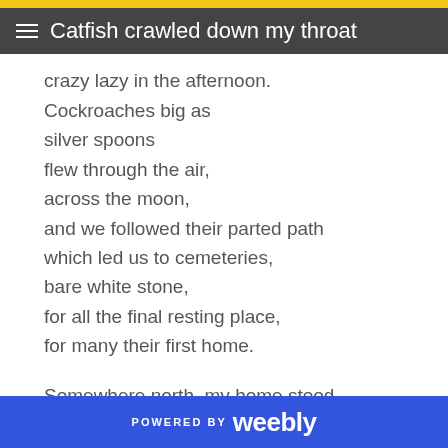Catfish crawled down my throat
crazy lazy in the afternoon.
Cockroaches big as
silver spoons
flew through the air,
across the moon,
and we followed their parted path
which led us to cemeteries,
bare white stone,
for all the final resting place,
for many their first home.

Somewhere north, my home stood,
suburban and beautiful white washed wood,
but forgotten and impossible to see
from where I stood.
POWERED BY weebly